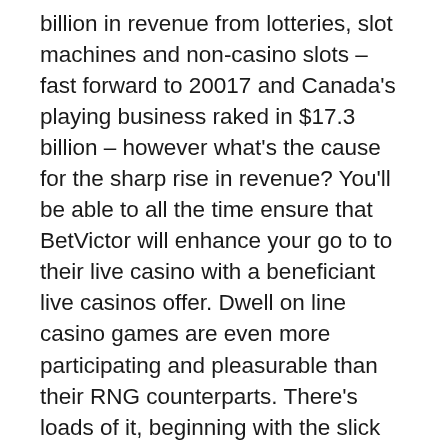billion in revenue from lotteries, slot machines and non-casino slots – fast forward to 20017 and Canada's playing business raked in $17.3 billion – however what's the cause for the sharp rise in revenue? You'll be able to all the time ensure that BetVictor will enhance your go to to their live casino with a beneficiant live casinos offer. Dwell on line casino games are even more participating and pleasurable than their RNG counterparts. There's loads of it, beginning with the slick design of the location and ending with the professionalism of its dwell casino games dealers.
Player Opinions – Although it is more frequent that gamers share their bad experiences on-line there is still lots that